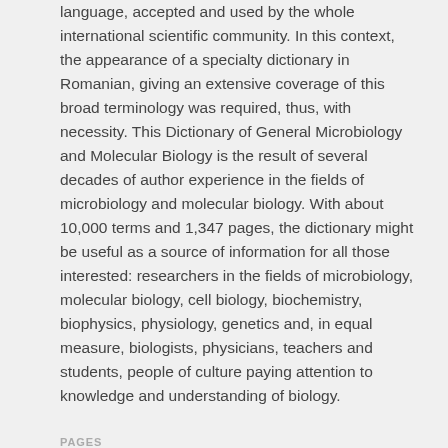language, accepted and used by the whole international scientific community. In this context, the appearance of a specialty dictionary in Romanian, giving an extensive coverage of this broad terminology was required, thus, with necessity. This Dictionary of General Microbiology and Molecular Biology is the result of several decades of author experience in the fields of microbiology and molecular biology. With about 10,000 terms and 1,347 pages, the dictionary might be useful as a source of information for all those interested: researchers in the fields of microbiology, molecular biology, cell biology, biochemistry, biophysics, physiology, genetics and, in equal measure, biologists, physicians, teachers and students, people of culture paying attention to knowledge and understanding of biology.
PAGES
374-375
Full article access   Total downloads: 2319 (Distinct clients:625)
Download citation (bibtex)
*Corronding author